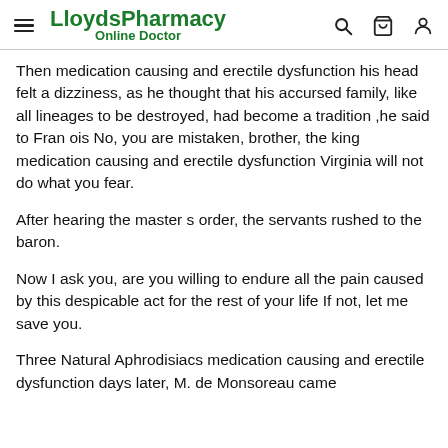LloydsPharmacy Online Doctor
Then medication causing and erectile dysfunction his head felt a dizziness, as he thought that his accursed family, like all lineages to be destroyed, had become a tradition ,he said to Fran ois No, you are mistaken, brother, the king medication causing and erectile dysfunction Virginia will not do what you fear.
After hearing the master s order, the servants rushed to the baron.
Now I ask you, are you willing to endure all the pain caused by this despicable act for the rest of your life If not, let me save you.
Three Natural Aphrodisiacs medication causing and erectile dysfunction days later, M. de Monsoreau came